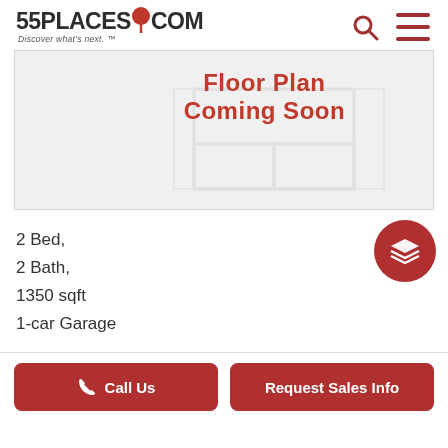[Figure (logo): 55PLACES.COM logo with red location pin icon and tagline 'Discover what's next.']
[Figure (illustration): Floor Plan Coming Soon placeholder with faint floor plan outline and red bold text reading 'Floor Plan Coming Soon']
2 Bed,
2 Bath,
1350 sqft
1-car Garage